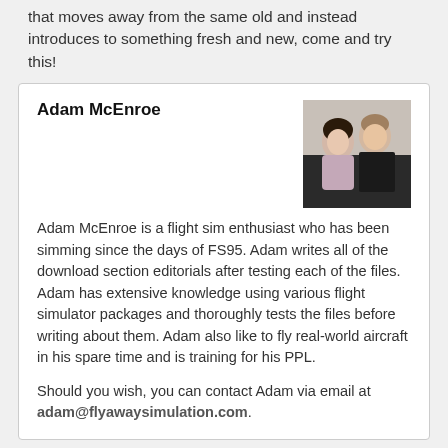that moves away from the same old and instead introduces to something fresh and new, come and try this!
Adam McEnroe
[Figure (photo): Photo of Adam McEnroe and a woman, indoor setting, both dressed formally]
Adam McEnroe is a flight sim enthusiast who has been simming since the days of FS95. Adam writes all of the download section editorials after testing each of the files. Adam has extensive knowledge using various flight simulator packages and thoroughly tests the files before writing about them. Adam also like to fly real-world aircraft in his spare time and is training for his PPL.
Should you wish, you can contact Adam via email at adam@flyawaysimulation.com.
↑↑ Back to top